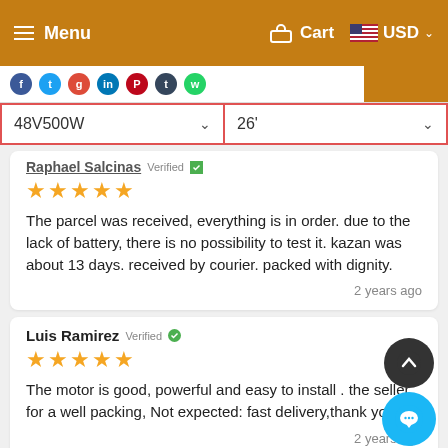Menu   Cart   USD
48V500W   26'
Raphael Salcinas Verified
★★★★★
The parcel was received, everything is in order. due to the lack of battery, there is no possibility to test it. kazan was about 13 days. received by courier. packed with dignity.
2 years ago
Luis Ramirez Verified
★★★★★
The motor is good, powerful and easy to install . the seller for a well packing, Not expected: fast delivery,thank you !
2 years ago